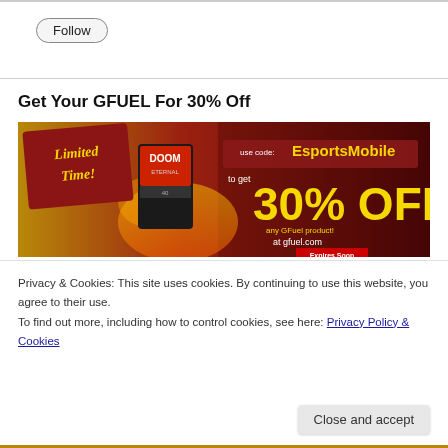[Figure (other): Follow button — rounded pill-shaped button with 'Follow' label]
Get Your GFUEL For 30% Off
[Figure (infographic): GFuel advertisement banner: 'Limited Time!' text on red badge, Doom Eternal product tub, 'use code: EsportsMobile to get 30% OFF any GFuel product! at gfuel.com Expires Soon']
Privacy & Cookies: This site uses cookies. By continuing to use this website, you agree to their use.
To find out more, including how to control cookies, see here: Privacy Policy & Cookies
Close and accept